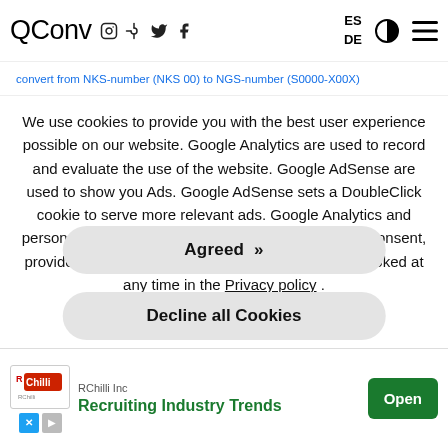QConv  ES  DE
convert from NKS-number (NKS 00) to NGS-number (S0000-X00X)
We use cookies to provide you with the best user experience possible on our website. Google Analytics are used to record and evaluate the use of the website. Google AdSense are used to show you Ads. Google AdSense sets a DoubleClick cookie to serve more relevant ads. Google Analytics and personalized ads are only done on the basis of your consent, provided that you have given us this. This can be revoked at any time in the Privacy policy .
Agreed »
Decline all Cookies
[Figure (infographic): RChilli Inc advertisement banner with logo, 'Recruiting Industry Trends' headline in green, and an Open button]